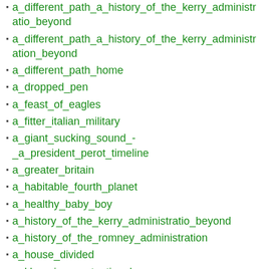a_different_path_a_history_of_the_kerry_administratio_beyond
a_different_path_a_history_of_the_kerry_administration_beyond
a_different_path_home
a_dropped_pen
a_feast_of_eagles
a_fitter_italian_military
a_giant_sucking_sound_-_a_president_perot_timeline
a_greater_britain
a_habitable_fourth_planet
a_healthy_baby_boy
a_history_of_the_kerry_administratio_beyond
a_history_of_the_romney_administration
a_house_divided
a_khan_in_constantinople
a_kingdom_and_a_horse
a_lenin-less_world
a_leninless_world
a_light_in_the_darkness